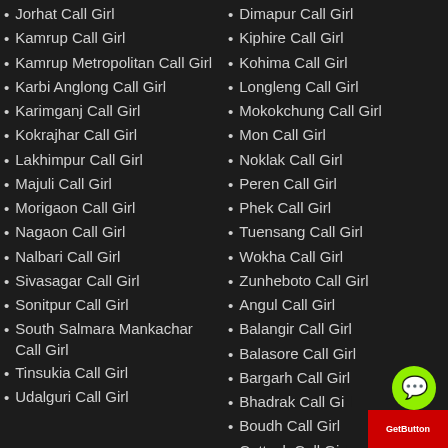Jorhat Call Girl
Kamrup Call Girl
Kamrup Metropolitan Call Girl
Karbi Anglong Call Girl
Karimganj Call Girl
Kokrajhar Call Girl
Lakhimpur Call Girl
Majuli Call Girl
Morigaon Call Girl
Nagaon Call Girl
Nalbari Call Girl
Sivasagar Call Girl
Sonitpur Call Girl
South Salmara Mankachar Call Girl
Tinsukia Call Girl
Udalguri Call Girl
Dimapur Call Girl
Kiphire Call Girl
Kohima Call Girl
Longleng Call Girl
Mokokchung Call Girl
Mon Call Girl
Noklak Call Girl
Peren Call Girl
Phek Call Girl
Tuensang Call Girl
Wokha Call Girl
Zunheboto Call Girl
Angul Call Girl
Balangir Call Girl
Balasore Call Girl
Bargarh Call Girl
Bhadrak Call Girl
Boudh Call Girl
Cuttack Call Girl